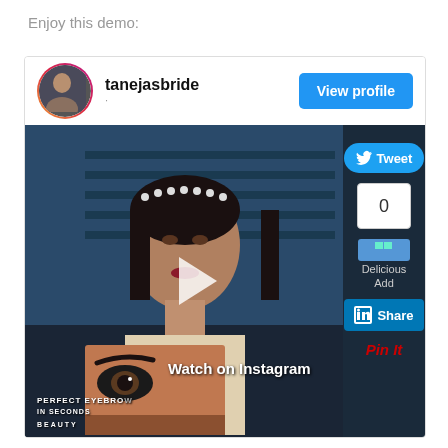Enjoy this demo:
[Figure (screenshot): Instagram embed card showing user 'tanejasbride' with a video thumbnail of a woman holding a makeup book 'Perfect Eyebrows in Seconds', with a View profile button, Tweet button, share count 0, Delicious Add button, LinkedIn Share button, and Pin It link. A play button overlay and 'Watch on Instagram' label are visible.]